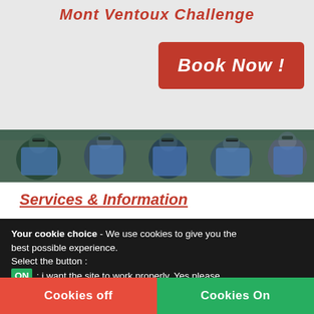Mont Ventoux Challenge
[Figure (screenshot): Book Now button on red background and header area with grey background]
[Figure (photo): Photo strip of cyclists in blue jerseys]
Services & Information
Your cookie choice - We use cookies to give you the best possible experience. Select the button : ON : i want the site to work properly, Yes please OFF :Impaired functionnality and experience   How to control cookies on your computer   Cookie policy
Privacy policy
Cookies off   Cookies On